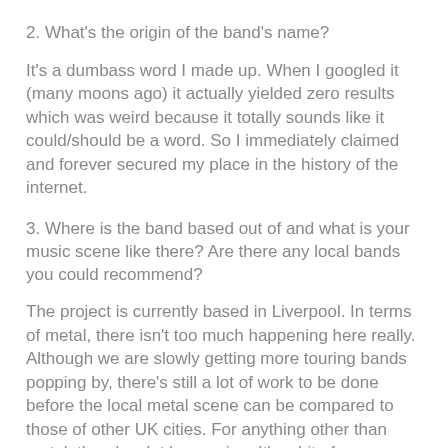2. What's the origin of the band's name?
It's a dumbass word I made up. When I googled it (many moons ago) it actually yielded zero results which was weird because it totally sounds like it could/should be a word. So I immediately claimed and forever secured my place in the history of the internet.
3. Where is the band based out of and what is your music scene like there? Are there any local bands you could recommend?
The project is currently based in Liverpool. In terms of metal, there isn't too much happening here really. Although we are slowly getting more touring bands popping by, there's still a lot of work to be done before the local metal scene can be compared to those of other UK cities. For anything other than metal, there's a lot happening. It's a bit of an over-saturated market to be honest, but at least it's an active scene and there is always something going on.